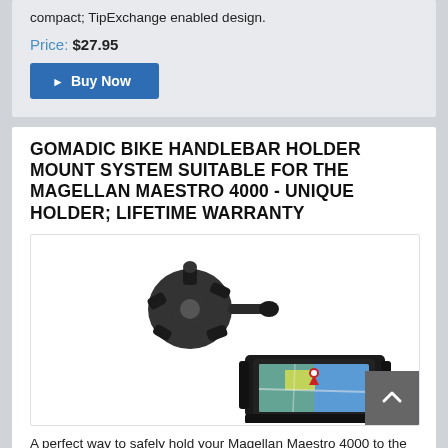compact; TipExchange enabled design.
Price: $27.95
Buy Now
GOMADIC BIKE HANDLEBAR HOLDER MOUNT SYSTEM SUITABLE FOR THE MAGELLAN MAESTRO 4000 - UNIQUE HOLDER; LIFETIME WARRANTY
[Figure (photo): Product photo showing a Gomadic bike handlebar holder mount system with two components: a black handlebar clamp/holder mechanism at top left, and a GPS device (Magellan Maestro 4000) mounted in a holder at bottom right.]
A perfect way to safely hold your Magellan Maestro 4000 to the handlebar and the mounting. Some text continues at bottom.